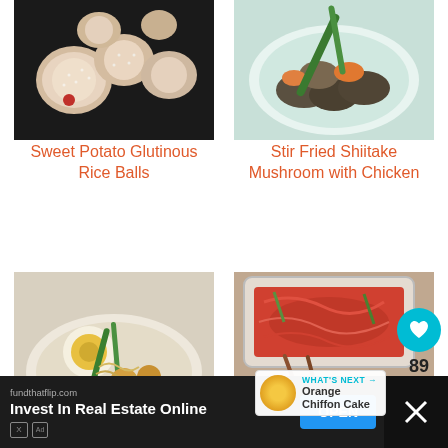[Figure (photo): Sweet potato glutinous rice balls on a dark plate]
Sweet Potato Glutinous Rice Balls
[Figure (photo): Stir fried shiitake mushroom with chicken in a white bowl]
Stir Fried Shiitake Mushroom with Chicken
[Figure (photo): Bowl of curry with egg, green beans, tofu and eggplant]
[Figure (photo): Kimchi in a plastic container with chopsticks]
[Figure (other): What's Next: Orange Chiffon Cake thumbnail]
[Figure (infographic): Heart/like button showing 89 likes and share button]
WHAT'S NEXT → Orange Chiffon Cake
fundthatflip.com — Invest In Real Estate Online — OPEN (advertisement)